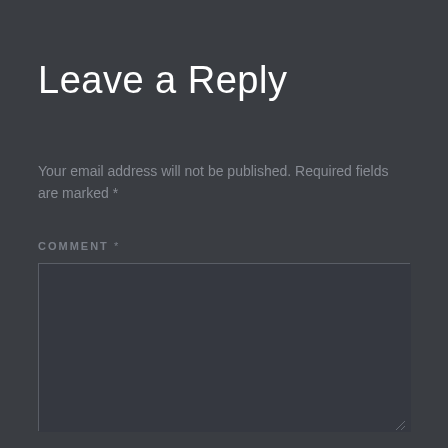Leave a Reply
Your email address will not be published. Required fields are marked *
COMMENT *
[Figure (screenshot): Empty comment text area input field with a dark background and light border]